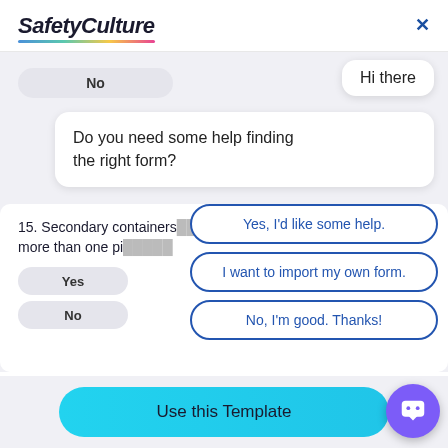[Figure (screenshot): SafetyCulture logo with colorful underline gradient and close X button in top right]
No
Hi there
Do you need some help finding the right form?
15. Secondary containers more than one pi
Yes, I'd like some help.
I want to import my own form.
Yes
No, I'm good. Thanks!
No
Use this Template